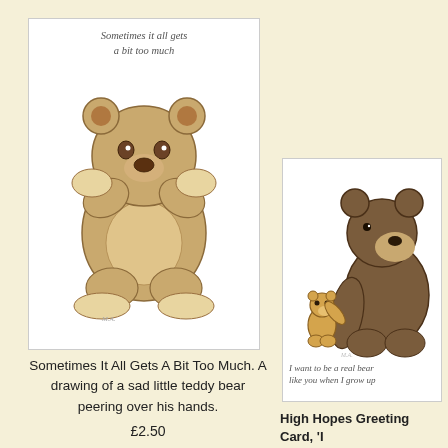[Figure (illustration): Greeting card with a sad teddy bear covering its face with paws, text reading 'Sometimes it all gets a bit too much' at the top]
[Figure (illustration): Greeting card showing a large realistic brown bear standing next to a small teddy bear reaching up, with text 'I want to be a real bear like you when I grow up']
Sometimes It All Gets A Bit Too Much. A drawing of a sad little teddy bear peering over his hands.
£2.50
High Hopes Greeting Card, 'I